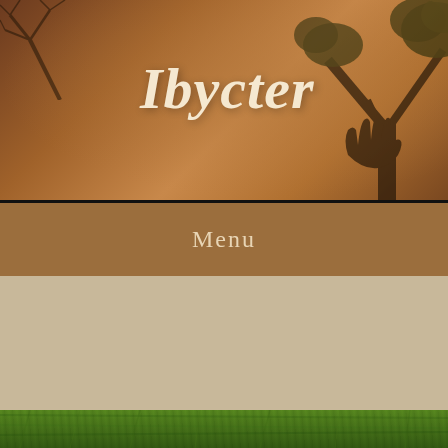Ibycter
Menu
TAG ARCHIVE | RAYNOX DCR250
Cheapskate Tuesday 2: The Raynox DCR 250
[Figure (photo): Green plant macro photograph at the bottom of the page]